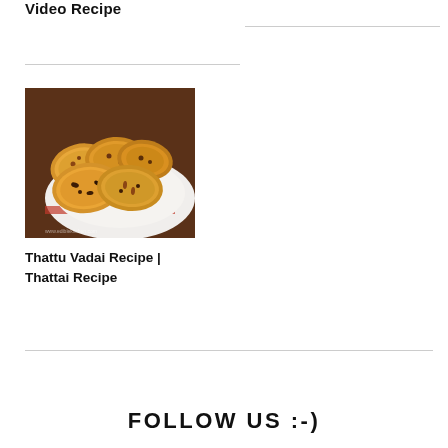Video Recipe
[Figure (photo): Plate of Thattu Vadai (Thattai) — round fried snacks with black sesame seeds and peanuts on a white plate with red rim, on a dark brown background. Watermark: www.ediblekitchen.com]
Thattu Vadai Recipe | Thattai Recipe
FOLLOW US :-)